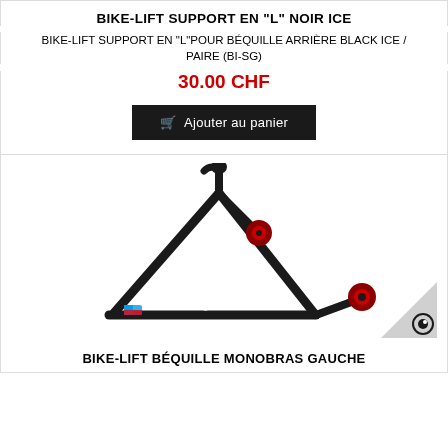BIKE-LIFT SUPPORT EN "L" NOIR ICE
BIKE-LIFT SUPPORT EN "L"POUR BÉQUILLE ARRIÈRE BLACK ICE / PAIRE (BI-SG)
30.00 CHF
Ajouter au panier
[Figure (photo): Black motorcycle rear stand with L-shaped support arms, red wheel spools, and Bike-Lift branding. The stand has a triangular base frame in black metal.]
BIKE-LIFT BÉQUILLE MONOBRAS GAUCHE